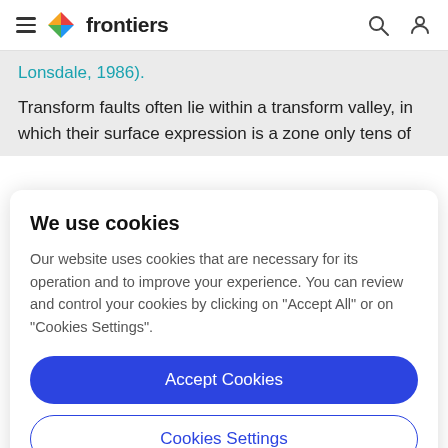frontiers
Lonsdale, 1986).
Transform faults often lie within a transform valley, in which their surface expression is a zone only tens of
We use cookies
Our website uses cookies that are necessary for its operation and to improve your experience. You can review and control your cookies by clicking on "Accept All" or on "Cookies Settings".
Accept Cookies
Cookies Settings